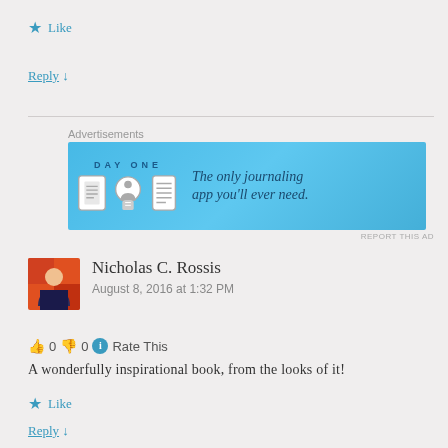★ Like
Reply ↓
[Figure (other): Advertisement banner for Day One journaling app with blue background showing app icons and text: The only journaling app you'll ever need.]
Nicholas C. Rossis
August 8, 2016 at 1:32 PM
👍 0 👎 0 ℹ Rate This
A wonderfully inspirational book, from the looks of it!
★ Like
Reply ↓